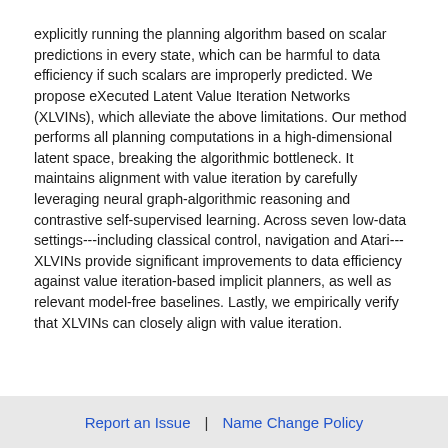explicitly running the planning algorithm based on scalar predictions in every state, which can be harmful to data efficiency if such scalars are improperly predicted. We propose eXecuted Latent Value Iteration Networks (XLVINs), which alleviate the above limitations. Our method performs all planning computations in a high-dimensional latent space, breaking the algorithmic bottleneck. It maintains alignment with value iteration by carefully leveraging neural graph-algorithmic reasoning and contrastive self-supervised learning. Across seven low-data settings---including classical control, navigation and Atari---XLVINs provide significant improvements to data efficiency against value iteration-based implicit planners, as well as relevant model-free baselines. Lastly, we empirically verify that XLVINs can closely align with value iteration.
Report an Issue  |  Name Change Policy